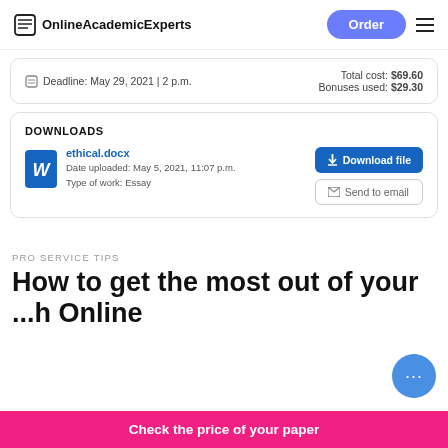OnlineAcademicExperts
Deadline: May 29, 2021 | 2 p.m.   Total cost: $69.60  Bonuses used: $29.30
DOWNLOADS
ethical.docx
Date uploaded: May 5, 2021, 11:07 p.m.
Type of work: Essay
PRO SERVICE TIPS
How to get the most out of your ... Online
Check the price of your paper